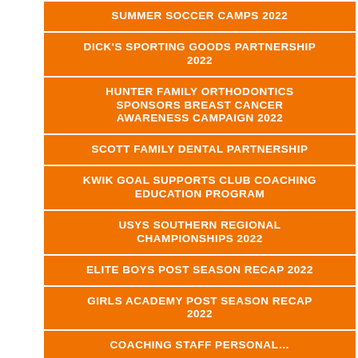SUMMER SOCCER CAMPS 2022
DICK'S SPORTING GOODS PARTNERSHIP 2022
HUNTER FAMILY ORTHODONTICS SPONSORS BREAST CANCER AWARENESS CAMPAIGN 2022
SCOTT FAMILY DENTAL PARTNERSHIP
KWIK GOAL SUPPORTS CLUB COACHING EDUCATION PROGRAM
USYS SOUTHERN REGIONAL CHAMPIONSHIPS 2022
ELITE BOYS POST SEASON RECAP 2022
GIRLS ACADEMY POST SEASON RECAP 2022
COACHING STAFF PERSONAL…